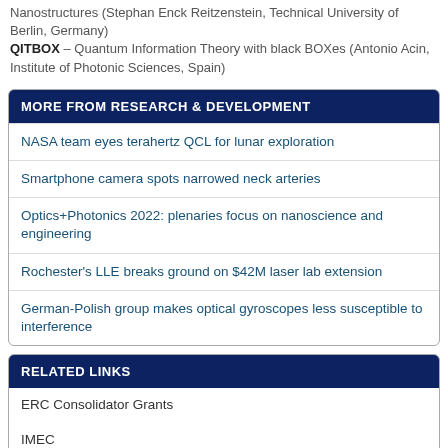Nanostructures (Stephan Enck Reitzenstein, Technical University of Berlin, Germany)
QITBOX – Quantum Information Theory with black BOXes (Antonio Acin, Institute of Photonic Sciences, Spain)
MORE FROM RESEARCH & DEVELOPMENT
NASA team eyes terahertz QCL for lunar exploration
Smartphone camera spots narrowed neck arteries
Optics+Photonics 2022: plenaries focus on nanoscience and engineering
Rochester's LLE breaks ground on $42M laser lab extension
German-Polish group makes optical gyroscopes less susceptible to interference
RELATED LINKS
ERC Consolidator Grants
IMEC